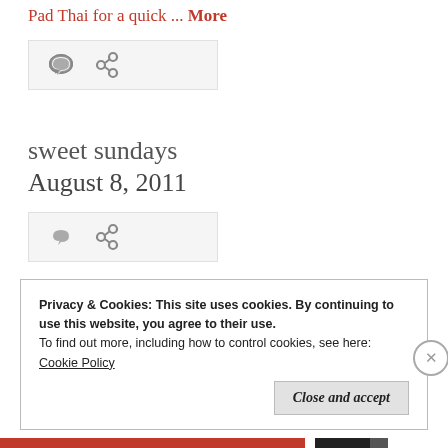Pad Thai for a quick ... More
[Figure (other): Action bar with comment and share icons]
sweet sundays
August 8, 2011
[Figure (other): Action bar with comment and share icons]
Privacy & Cookies: This site uses cookies. By continuing to use this website, you agree to their use.
To find out more, including how to control cookies, see here:
Cookie Policy
Close and accept